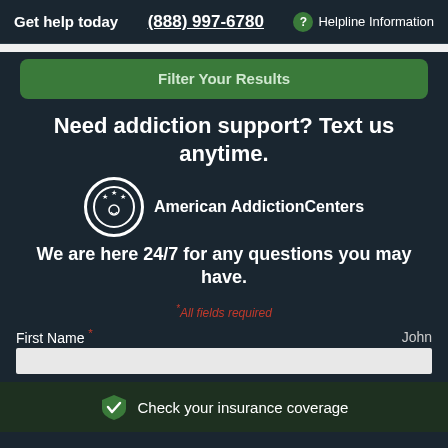Get help today  (888) 997-6780  Helpline Information
Filter Your Results
Need addiction support? Text us anytime.
[Figure (logo): American Addiction Centers logo: circular emblem with stars and a smiling figure, followed by the text 'American AddictionCenters']
We are here 24/7 for any questions you may have.
*All fields required
First Name *  John
Check your insurance coverage